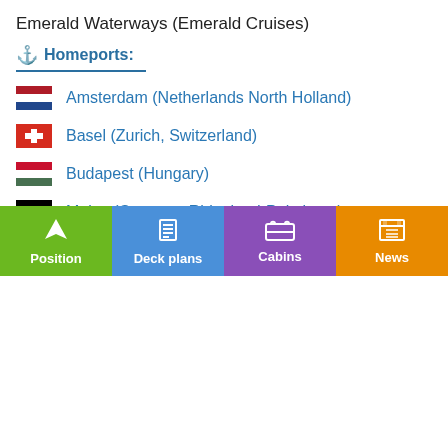Emerald Waterways (Emerald Cruises)
⚓ Homeports:
Amsterdam (Netherlands North Holland)
Basel (Zurich, Switzerland)
Budapest (Hungary)
Mainz (Germany Rhineland-Palatinate)
[Figure (infographic): Navigation bar with four colored sections: Position (green), Deck plans (blue), Cabins (purple), News (orange), each with an icon and label.]